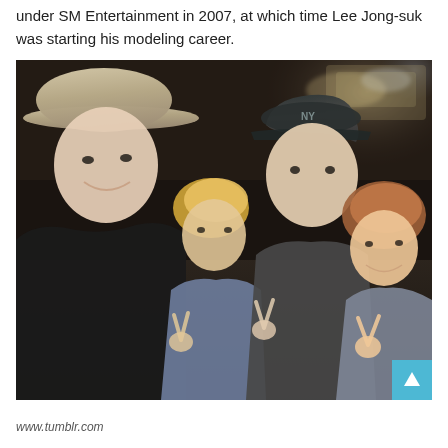under SM Entertainment in 2007, at which time Lee Jong-suk was starting his modeling career.
[Figure (photo): Group selfie photo of four young people posing indoors. From left: a person wearing a wide-brimmed gray hat and dark sweater smiling; a person with short blonde/dyed hair; a person wearing a dark NY Yankees baseball cap; and a person with reddish-brown hair on the right. The two people on the right are making peace/victory signs with their hands. Background shows dim indoor lighting suggesting a restaurant or bar setting.]
www.tumblr.com